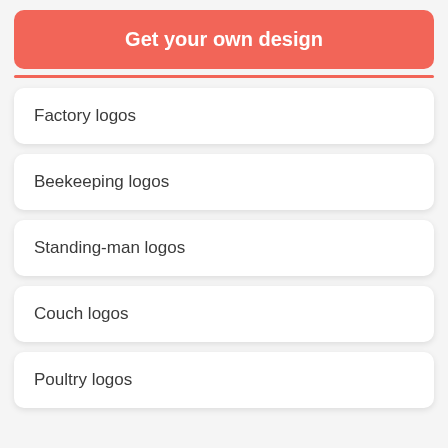Get your own design
Factory logos
Beekeeping logos
Standing-man logos
Couch logos
Poultry logos